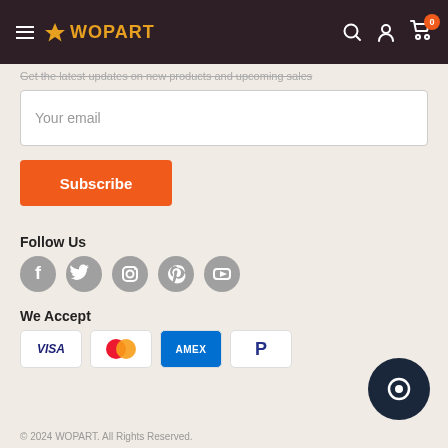WOPART — Navigation header with hamburger menu, logo, search, account, and cart (0 items)
Get the latest updates on new products and upcoming sales
Your email
Subscribe
Follow Us
[Figure (infographic): Five social media icons in gray circles: Facebook, Twitter, Instagram, Pinterest, YouTube]
We Accept
[Figure (infographic): Four payment method logos: VISA, Mastercard, American Express (AMEX), PayPal]
[Figure (other): Dark circular chat/support button in bottom right corner]
© 2024 WOPART. All Rights Reserved.